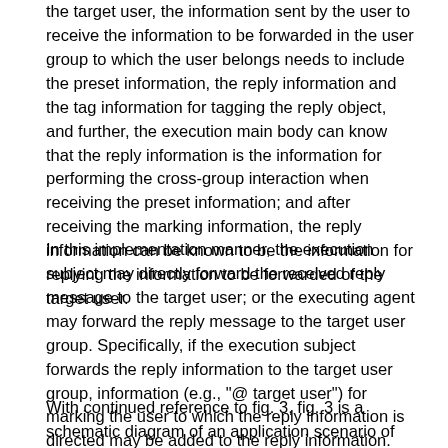the target user, the information sent by the user to receive the information to be forwarded in the user group to which the user belongs needs to include the preset information, the reply information and the tag information for tagging the reply object, and further, the execution main body can know that the reply information is the information for performing the cross-group interaction when receiving the preset information; and after receiving the marking information, the reply information can be known to be the information for replying the information to be forwarded of the target user.
In this implementation manner, the execution subject may directly forward the received reply message to the target user; or the executing agent may forward the reply message to the target user group. Specifically, if the execution subject forwards the reply information to the target user group, information (e.g., "@ target user") for marking the user to which the reply information is directed may be added to the reply information.
With continued reference to fig. 3, fig. 3 is a schematic diagram of an application scenario of the method for processing information according to the preset...